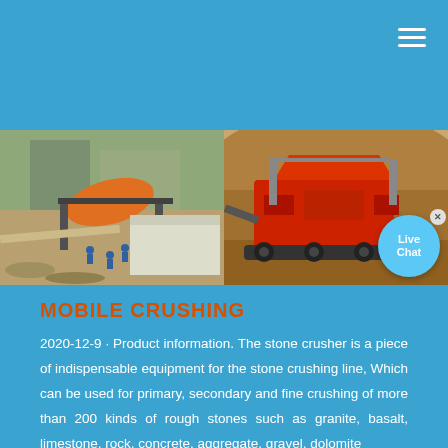[Figure (photo): Two side-by-side industrial photos: left shows a ball mill/drum crusher at a construction site with workers and machinery; right shows a mobile red crushing machine on a dirt terrain with hills in background. A Live Chat bubble overlay appears in the bottom-right corner.]
MOBILE CRUSHING
2020-12-9 · Product information. The stone crusher is a piece of indispensable equipment for the stone crushing line, Which can be used for primary, secondary and fine crushing of more than 200 kinds of rough stones such as granite, basalt, limestone, rock, concrete, aggregate, gravel, dolomite